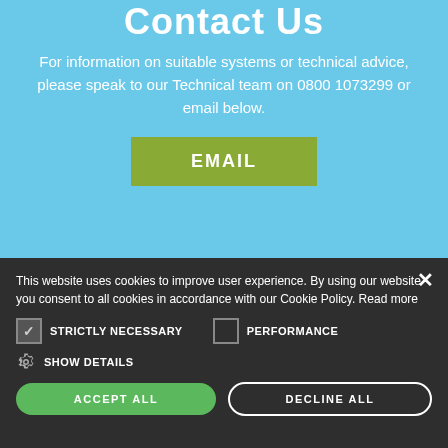Contact Us
For information on suitable systems or technical advice, please speak to our Technical team on 0800 1073299 or email below.
EMAIL
This website uses cookies to improve user experience. By using our website you consent to all cookies in accordance with our Cookie Policy. Read more
STRICTLY NECESSARY
PERFORMANCE
SHOW DETAILS
ACCEPT ALL
DECLINE ALL